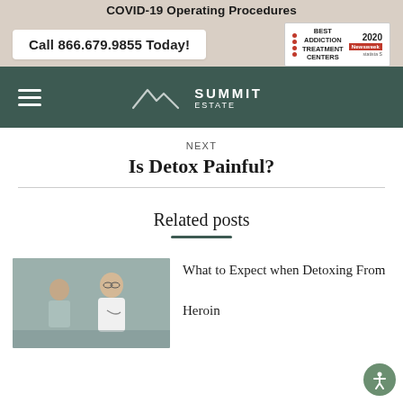COVID-19 Operating Procedures
Call 866.679.9855 Today!
[Figure (logo): Best Addiction Treatment Centers 2020 Newsweek award badge]
[Figure (logo): Summit Estate logo with mountain icon and brand name]
NEXT
Is Detox Painful?
Related posts
[Figure (photo): Doctor or healthcare professional consulting with a patient]
What to Expect when Detoxing From Heroin